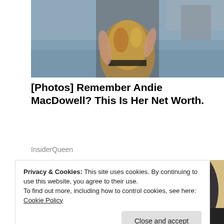[Figure (photo): Partial photo of a woman in a sequined/embroidered dress standing near water, cropped at torso level]
[Photos] Remember Andie MacDowell? This Is Her Net Worth.
InsiderQueen
[Figure (photo): Woman in a dark blazer working at a desk with a laptop and tablet, viewed from above and to the side]
Privacy & Cookies: This site uses cookies. By continuing to use this website, you agree to their use.
To find out more, including how to control cookies, see here: Cookie Policy
Close and accept
charlestown by erickson senior living Public